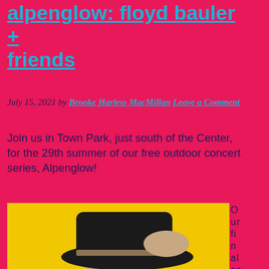alpenglow: floyd bauler + friends
July 15, 2021 by Brooke Harless MacMillan Leave a Comment
Join us in Town Park, just south of the Center, for the 29th summer of our free outdoor concert series, Alpenglow!
[Figure (photo): Person with long curly hair wearing a wide-brimmed black hat and holding the brim, with tattoos visible on arm, against a yellow background]
Our final con n